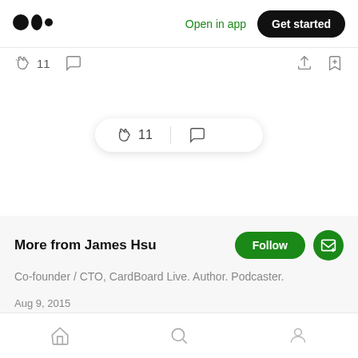Open in app  Get started
[Figure (screenshot): Medium app interface showing article bottom actions: clap (11), comment icons, share and bookmark icons, a floating pill with clap 11 and comment, More from James Hsu section with Follow button, author bio, article date and title]
11
11
More from James Hsu
Co-founder / CTO, CardBoard Live. Author. Podcaster.
Aug 9, 2015
On Magic: Part 3 — The Competitive Drive
Home  Search  Profile